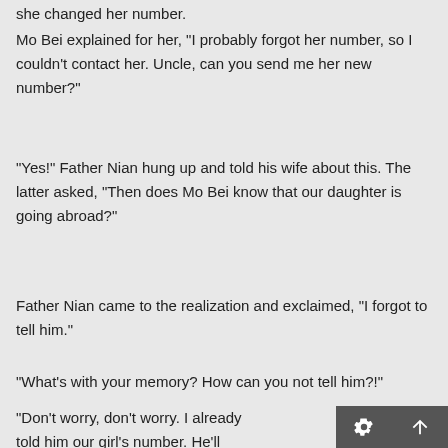she changed her number.
Mo Bei explained for her, "I probably forgot her number, so I couldn't contact her. Uncle, can you send me her new number?"
"Yes!" Father Nian hung up and told his wife about this. The latter asked, "Then does Mo Bei know that our daughter is going abroad?"
Father Nian came to the realization and exclaimed, "I forgot to tell him."
"What's with your memory? How can you not tell him?!"
"Don't worry, don't worry. I already told him our girl's number. He'll definitely be able to contact her."